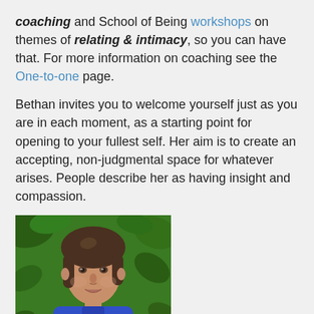coaching and School of Being workshops on themes of relating & intimacy, so you can have that. For more information on coaching see the One-to-one page.
Bethan invites you to welcome yourself just as you are in each moment, as a starting point for opening to your fullest self. Her aim is to create an accepting, non-judgmental space for whatever arises. People describe her as having insight and compassion.
[Figure (photo): Portrait photo of a woman (Bethan) with brown hair pulled back, pale skin, wearing a blue top, photographed outdoors against green leafy background.]